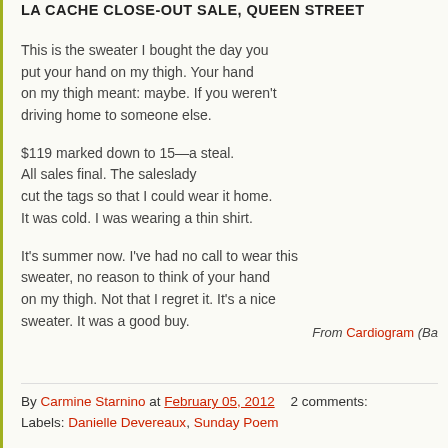LA CACHE CLOSE-OUT SALE, QUEEN STREET
This is the sweater I bought the day you
put your hand on my thigh. Your hand
on my thigh meant: maybe. If you weren't
driving home to someone else.

$119 marked down to 15—a steal.
All sales final. The saleslady
cut the tags so that I could wear it home.
It was cold. I was wearing a thin shirt.

It's summer now. I've had no call to wear this
sweater, no reason to think of your hand
on my thigh. Not that I regret it. It's a nice
sweater. It was a good buy.
From Cardiogram (Ba
By Carmine Starnino at February 05, 2012    2 comments:
Labels: Danielle Devereaux, Sunday Poem